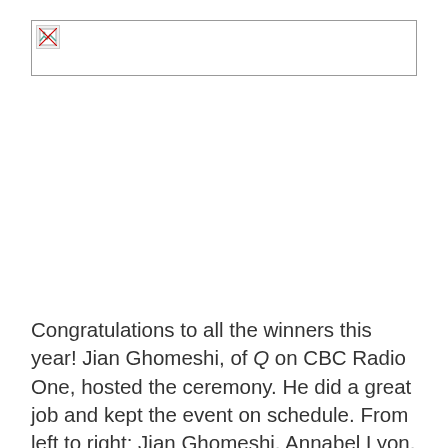[Figure (photo): Broken/missing image placeholder — a large photograph that failed to load, showing a broken image icon in the top-left corner of a white rectangle with a border.]
Congratulations to all the winners this year! Jian Ghomeshi, of Q on CBC Radio One, hosted the ceremony. He did a great job and kept the event on schedule. From left to right: Jian Ghomeshi, Annabel Lyon, David Bergen, Yasuko Thanh, Brian Brett, Marthe Jocelyn, and Politics &